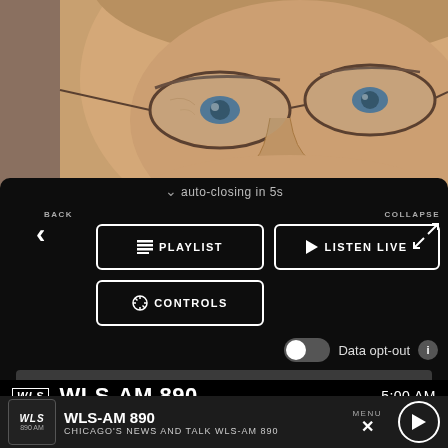[Figure (photo): Close-up photo of a man's face wearing metal-framed glasses, cropped to show eyes, nose and forehead region]
auto-closing in 5s
BACK
COLLAPSE
PLAYLIST
LISTEN LIVE
CONTROLS
Data opt-out
[Figure (screenshot): Gray advertisement banner placeholder]
WLS-AM 890
5:00 AM
WLS-AM 890
CHICAGO'S NEWS AND TALK WLS-AM 890
MENU